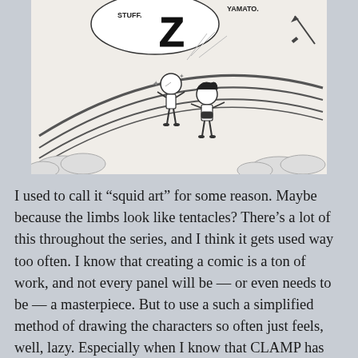[Figure (illustration): A manga/comic panel in black and white showing two chibi-style characters standing on curved lines (possibly a rainbow or slide), with sparkle effects and a large stylized letter 'Z' in a speech bubble. Text 'STUFF.' and 'YAMATO.' visible at top corners. Clouds visible at bottom.]
I used to call it “squid art” for some reason. Maybe because the limbs look like tentacles? There’s a lot of this throughout the series, and I think it gets used way too often. I know that creating a comic is a ton of work, and not every panel will be — or even needs to be — a masterpiece. But to use a such a simplified method of drawing the characters so often just feels, well, lazy. Especially when I know that CLAMP has